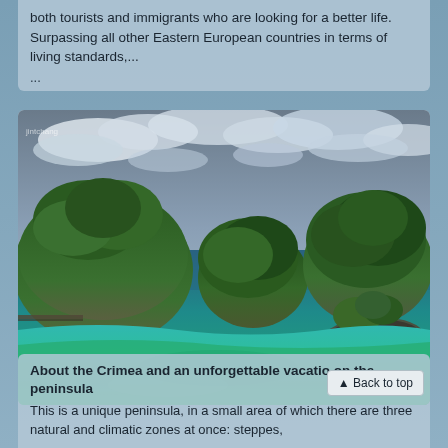both tourists and immigrants who are looking for a better life. Surpassing all other Eastern European countries in terms of living standards,... ...
[Figure (photo): Aerial/ground-level photograph of a tropical island lagoon with turquoise and deep blue water, rocky tree-covered islands or karst formations, and a dramatic cloudy sky. Lush green vegetation covers the rocky outcrops. A small watermark 'jintchang' or similar appears in the top-left corner of the photo.]
About the Crimea and an unforgettable vacation on the peninsula
This is a unique peninsula, in a small area of which there are three natural and climatic zones at once: steppes,